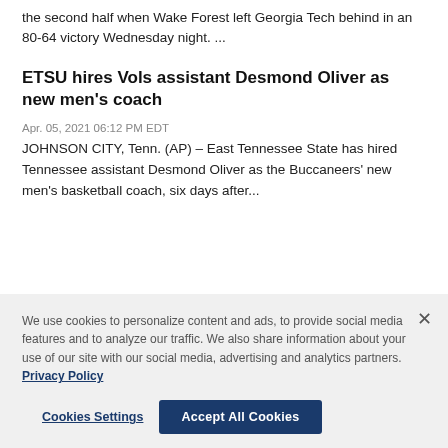the second half when Wake Forest left Georgia Tech behind in an 80-64 victory Wednesday night. ...
ETSU hires Vols assistant Desmond Oliver as new men's coach
Apr. 05, 2021 06:12 PM EDT
JOHNSON CITY, Tenn. (AP) – East Tennessee State has hired Tennessee assistant Desmond Oliver as the Buccaneers' new men's basketball coach, six days after...
We use cookies to personalize content and ads, to provide social media features and to analyze our traffic. We also share information about your use of our site with our social media, advertising and analytics partners. Privacy Policy